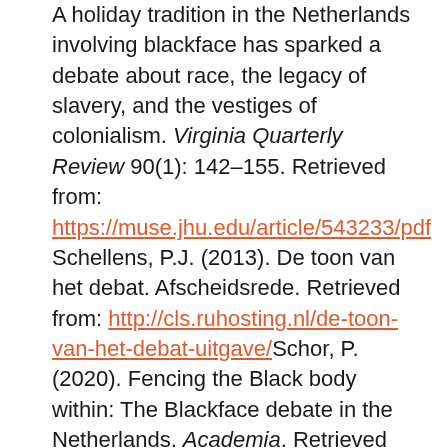A holiday tradition in the Netherlands involving blackface has sparked a debate about race, the legacy of slavery, and the vestiges of colonialism. Virginia Quarterly Review 90(1): 142–155. Retrieved from: https://muse.jhu.edu/article/543233/pdf Schellens, P.J. (2013). De toon van het debat. Afscheidsrede. Retrieved from: http://cls.ruhosting.nl/de-toon-van-het-debat-uitgave/ Schor, P. (2020). Fencing the Black body within: The Blackface debate in the Netherlands. Academia. Retrieved from: https://www.academia.edu/43635568/Fencing_the_Black_body_within_The_Blackface_debate_in_the_Netherlands Ward, J., & Rocha, R. (2018). "No more blackface!" How can we get people to change their minds about Zwarte Piet? Journal of Critical Thought